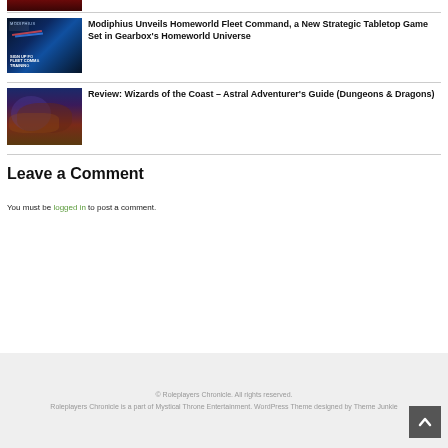[Figure (photo): Partial dark red/maroon image at top, cropped]
[Figure (photo): Homeworld Fleet Command promotional image with text: SIGN UP FOR FLEET COMMAND TRAINING]
Modiphius Unveils Homeworld Fleet Command, a New Strategic Tabletop Game Set in Gearbox's Homeworld Universe
[Figure (photo): Fantasy creature illustration for Astral Adventurer's Guide (Dungeons & Dragons)]
Review: Wizards of the Coast – Astral Adventurer's Guide (Dungeons & Dragons)
Leave a Comment
You must be logged in to post a comment.
© Roleplayers Chronicle. All rights reserved. Roleplayers Chronicle is a part of Mystical Throne Entertainment. WordPress Theme designed by Theme Junkie